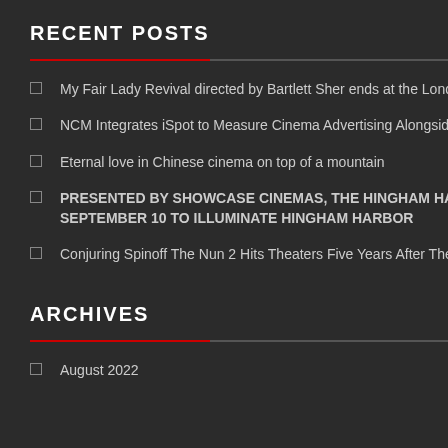RECENT POSTS
My Fair Lady Revival directed by Bartlett Sher ends at the London Coliseum on August 27
NCM Integrates iSpot to Measure Cinema Advertising Alongside TV
Eternal love in Chinese cinema on top of a mountain
PRESENTED BY SHOWCASE CINEMAS, THE HINGHAM HARBORWORKS ARE BACK ON SEPTEMBER 10 TO ILLUMINATE HINGHAM HARBOR
Conjuring Spinoff The Nun 2 Hits Theaters Five Years After The Original
ARCHIVES
August 2022